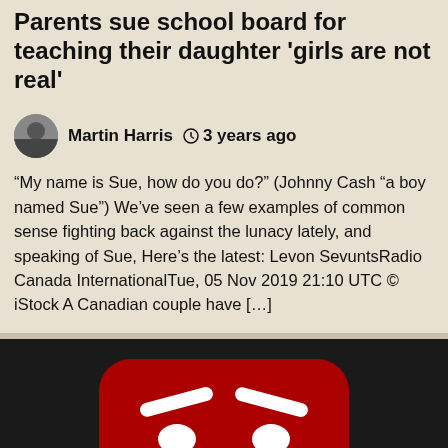Parents sue school board for teaching their daughter 'girls are not real'
Martin Harris   3 years ago
“My name is Sue, how do you do?” (Johnny Cash “a boy named Sue”) We’ve seen a few examples of common sense fighting back against the lunacy lately, and speaking of Sue, Here’s the latest: Levon SevuntsRadio Canada InternationalTue, 05 Nov 2019 21:10 UTC © iStock A Canadian couple have […]
[Figure (illustration): An angry-faced YouTube logo parody icon — red rounded rectangle with white angry eyebrows, eyes, and mouth on dark background]
Censorship   Corporate Corruption   Editor's Comment